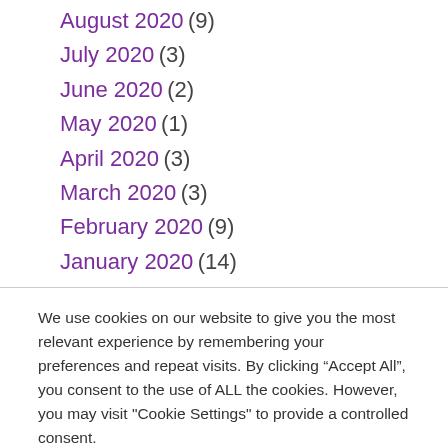August 2020 (9)
July 2020 (3)
June 2020 (2)
May 2020 (1)
April 2020 (3)
March 2020 (3)
February 2020 (9)
January 2020 (14)
We use cookies on our website to give you the most relevant experience by remembering your preferences and repeat visits. By clicking “Accept All”, you consent to the use of ALL the cookies. However, you may visit "Cookie Settings" to provide a controlled consent.